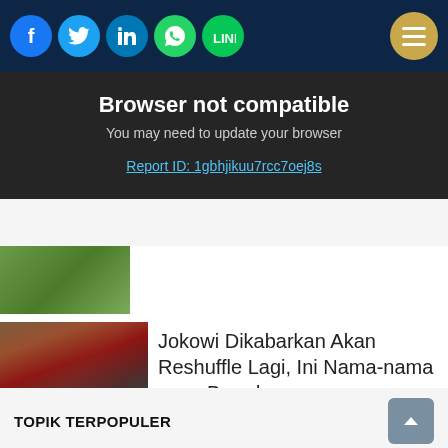Social icons: Facebook, Twitter, LinkedIn, WhatsApp, LINE. Menu button top right.
Browser not compatible
You may need to update your browser
Report ID: 1gbhjikuu7rcc7oej8s
[Figure (photo): Partially visible news card with outdoor/aerial photo]
Jokowi Dikabarkan Akan Reshuffle Lagi, Ini Nama-nama yang Beredar -...
[Figure (photo): Photo of Jokowi at a ceremony with officials in formal attire and flowers]
by Dable
TOPIK TERPOPULER
Update Me
Give Me Perspective
Harga BBM
Educate Me
BBM
Harga BBM Naik?